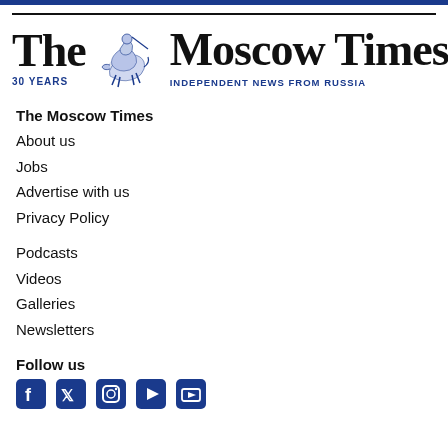[Figure (logo): The Moscow Times logo with knight on horseback crest, '30 YEARS' in blue, and 'INDEPENDENT NEWS FROM RUSSIA' tagline in blue]
The Moscow Times
About us
Jobs
Advertise with us
Privacy Policy
Podcasts
Videos
Galleries
Newsletters
Follow us
[Figure (illustration): Social media icons: Facebook, Twitter/X, Instagram, and others partially visible]